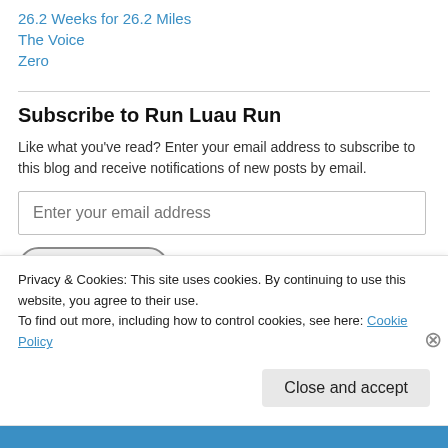26.2 Weeks for 26.2 Miles
The Voice
Zero
Subscribe to Run Luau Run
Like what you've read? Enter your email address to subscribe to this blog and receive notifications of new posts by email.
Enter your email address
Run With Luau!
Privacy & Cookies: This site uses cookies. By continuing to use this website, you agree to their use.
To find out more, including how to control cookies, see here: Cookie Policy
Close and accept